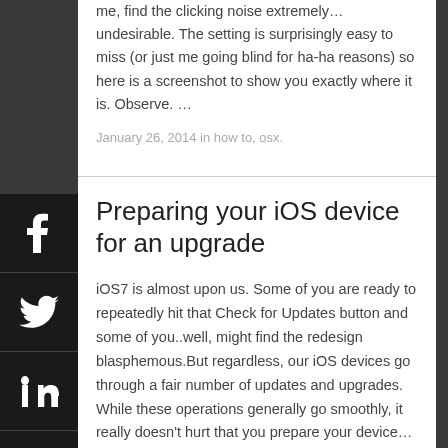me, find the clicking noise extremely…undesirable. The setting is surprisingly easy to miss (or just me going blind for ha-ha reasons) so here is a screenshot to show you exactly where it is. Observe.  …
January 26, 2014 in how to, osx.
Preparing your iOS device for an upgrade
iOS7 is almost upon us. Some of you are ready to repeatedly hit that Check for Updates button and some of you..well, might find the redesign blasphemous.But regardless, our iOS devices go through a fair number of updates and upgrades. While these operations generally go smoothly, it really doesn't hurt that you prepare your device…